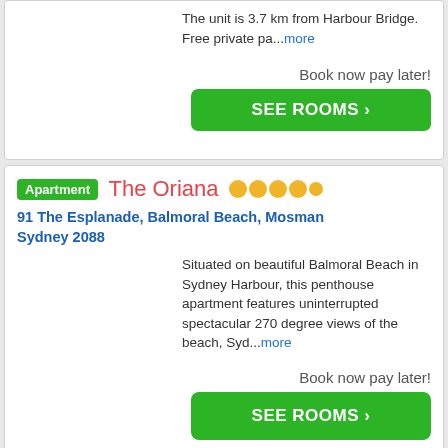The unit is 3.7 km from Harbour Bridge. Free private pa...more
Book now pay later!
SEE ROOMS ›
Apartment The Oriana ●●●●●
91 The Esplanade, Balmoral Beach, Mosman Sydney 2088
Situated on beautiful Balmoral Beach in Sydney Harbour, this penthouse apartment features uninterrupted spectacular 270 degree views of the beach, Syd...more
Book now pay later!
SEE ROOMS ›